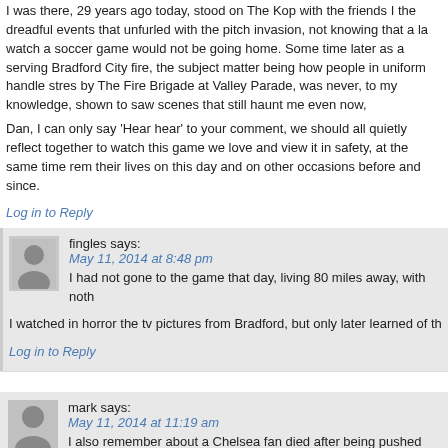I was there, 29 years ago today, stood on The Kop with the friends I the dreadful events that unfurled with the pitch invasion, not knowing that a la watch a soccer game would not be going home. Some time later as a serving Bradford City fire, the subject matter being how people in uniform handle stres by The Fire Brigade at Valley Parade, was never, to my knowledge, shown to saw scenes that still haunt me even now,
Dan, I can only say ‘Hear hear’ to your comment, we should all quietly reflect together to watch this game we love and view it in safety, at the same time re their lives on this day and on other occasions before and since.
Log in to Reply
fingles says:
May 11, 2014 at 8:48 pm
I had not gone to the game that day, living 80 miles away, with noth
I watched in horror the tv pictures from Bradford, but only later learned of th
Log in to Reply
mark says:
May 11, 2014 at 11:19 am
I also remember about a Chelsea fan died after being pushed under
Log in to Reply